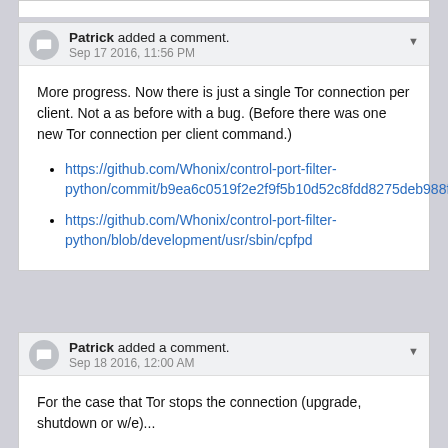Patrick added a comment. Sep 17 2016, 11:56 PM
More progress. Now there is just a single Tor connection per client. Not a as before with a bug. (Before there was one new Tor connection per client command.)
https://github.com/Whonix/control-port-filter-python/commit/b9ea6c0519f2e2f9f5b10d52c8fdd8275deb988f
https://github.com/Whonix/control-port-filter-python/blob/development/usr/sbin/cpfpd
Patrick added a comment. Sep 18 2016, 12:00 AM
For the case that Tor stops the connection (upgrade, shutdown or w/e)...
In Tor connection hander, in function handle_close I am doing